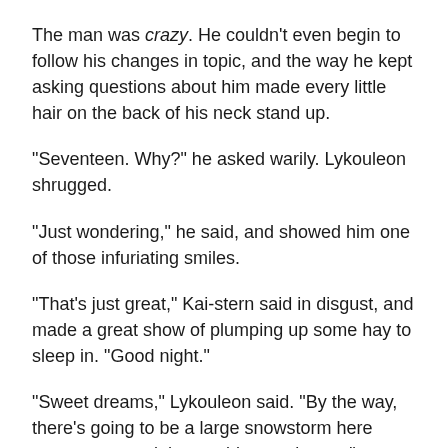The man was crazy. He couldn't even begin to follow his changes in topic, and the way he kept asking questions about him made every little hair on the back of his neck stand up.
"Seventeen. Why?" he asked warily. Lykouleon shrugged.
"Just wondering," he said, and showed him one of those infuriating smiles.
"That's just great," Kai-stern said in disgust, and made a great show of plumping up some hay to sleep in. "Good night."
"Sweet dreams," Lykouleon said. "By the way, there's going to be a large snowstorm here soon, so you might consider moving on."